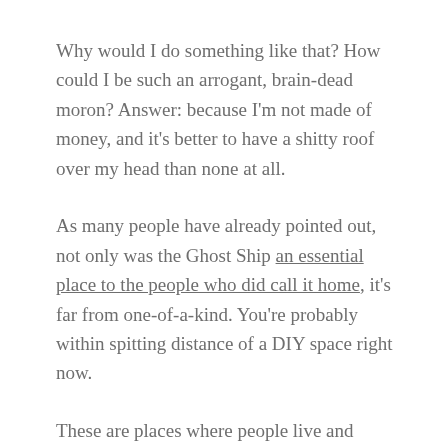Why would I do something like that? How could I be such an arrogant, brain-dead moron? Answer: because I'm not made of money, and it's better to have a shitty roof over my head than none at all.
As many people have already pointed out, not only was the Ghost Ship an essential place to the people who did call it home, it's far from one-of-a-kind. You're probably within spitting distance of a DIY space right now.
These are places where people live and work. Usually, if they're not squatting, they're not living there 100% legally (that is, the space is not zoned for residential use or there are more residents than the lease allows,